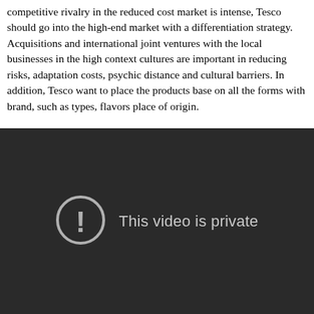competitive rivalry in the reduced cost market is intense, Tesco should go into the high-end market with a differentiation strategy. Acquisitions and international joint ventures with the local businesses in the high context cultures are important in reducing risks, adaptation costs, psychic distance and cultural barriers. In addition, Tesco want to place the products base on all the forms with brand, such as types, flavors place of origin.
[Figure (other): Embedded video player showing a dark background with a circular exclamation mark icon and the text 'This video is private']